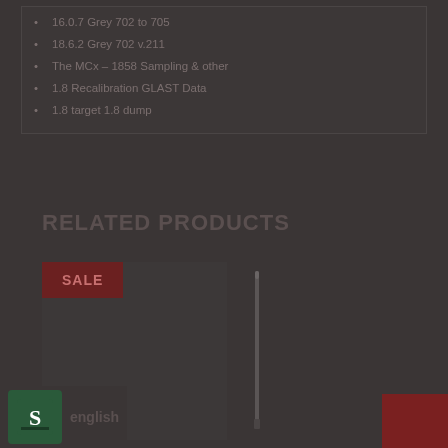16.0.7 Grey 702 to 705
18.6.2 Grey 702 v.211
The MCx - 1858 Sampling & other
1.8 Recalibration GLAST Data
1.8 target 1.8 dump
RELATED PRODUCTS
[Figure (photo): Product card with SALE badge]
[Figure (photo): Pen or marker product image]
[Figure (logo): Green S logo with 'english' text]
[Figure (other): Red badge bottom right]